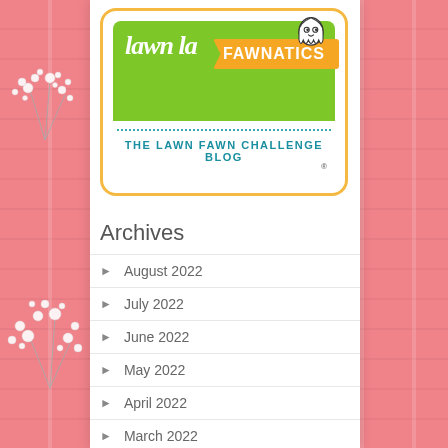[Figure (logo): Lawn Fawn Fawnatics logo with green banner, orange ribbon, and ghost illustration]
THE LAWN FAWN CHALLENGE BLOG
Archives
August 2022
July 2022
June 2022
May 2022
April 2022
March 2022